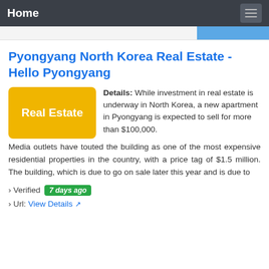Home
Pyongyang North Korea Real Estate - Hello Pyongyang
[Figure (illustration): Yellow rounded rectangle badge with white text reading 'Real Estate']
Details: While investment in real estate is underway in North Korea, a new apartment in Pyongyang is expected to sell for more than $100,000. Media outlets have touted the building as one of the most expensive residential properties in the country, with a price tag of $1.5 million. The building, which is due to go on sale later this year and is due to
› Verified 7 days ago
› Url: View Details